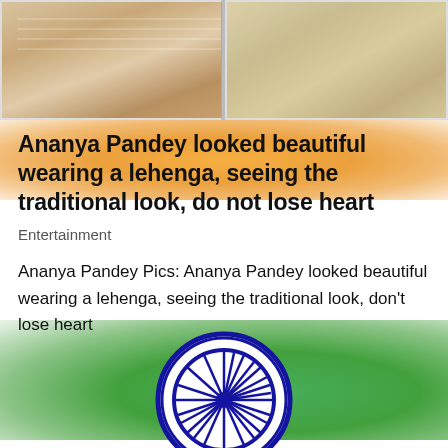[Figure (photo): Two photos of Ananya Pandey in traditional Indian lehenga outfits, cropped showing torsos]
[Figure (illustration): Indian national flag background with saffron/orange top, white middle, green bottom, and Ashoka Chakra in blue]
Ananya Pandey looked beautiful wearing a lehenga, seeing the traditional look, do not lose heart
Entertainment
Ananya Pandey Pics: Ananya Pandey looked beautiful wearing a lehenga, seeing the traditional look, don't lose heart
Search for
01. Best Teeth Whitening Toothpaste
02. Watch Free Full Movie
Yahoo! Search | Sponsored